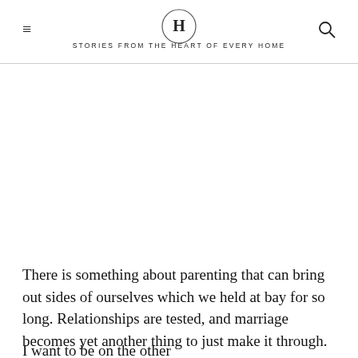H — STORIES FROM THE HEART OF EVERY HOME
There is something about parenting that can bring out sides of ourselves which we held at bay for so long. Relationships are tested, and marriage becomes yet another thing to just make it through.
I want to be on the other...